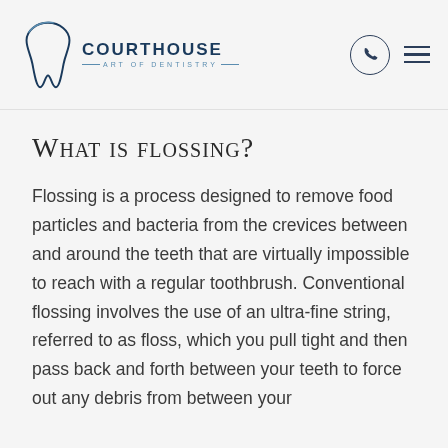[Figure (logo): Courthouse Art of Dentistry logo with tooth icon and phone/hamburger menu icons in header]
What is flossing?
Flossing is a process designed to remove food particles and bacteria from the crevices between and around the teeth that are virtually impossible to reach with a regular toothbrush. Conventional flossing involves the use of an ultra-fine string, referred to as floss, which you pull tight and then pass back and forth between your teeth to force out any debris from between your